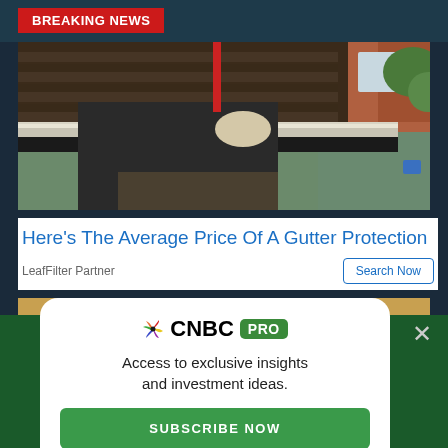BREAKING NEWS
[Figure (photo): Worker in dark clothing and work belt installing or cleaning a white roof gutter on a residential home with dark shingles]
Here's The Average Price Of A Gutter Protection
LeafFilter Partner
[Figure (photo): Partially visible second image showing what appears to be a dark cylindrical object against a sandy/beige textured wall]
[Figure (logo): CNBC PRO logo with peacock symbol and green PRO badge on white popup card overlay]
Access to exclusive insights and investment ideas.
SUBSCRIBE NOW